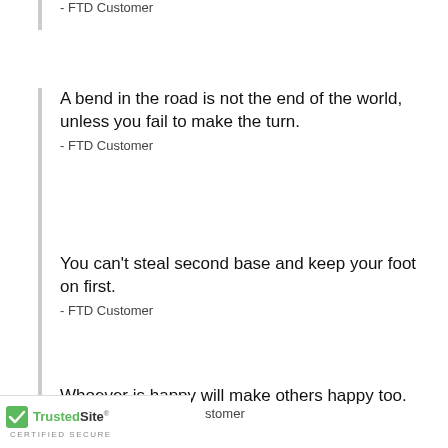- FTD Customer
A bend in the road is not the end of the world, unless you fail to make the turn.
- FTD Customer
You can't steal second base and keep your foot on first.
- FTD Customer
No-one can predict to what heights you can soar. Even you will not know until you spread your wings.
- FTD Customer
Whoever is happy will make others happy too.
- FTD Customer